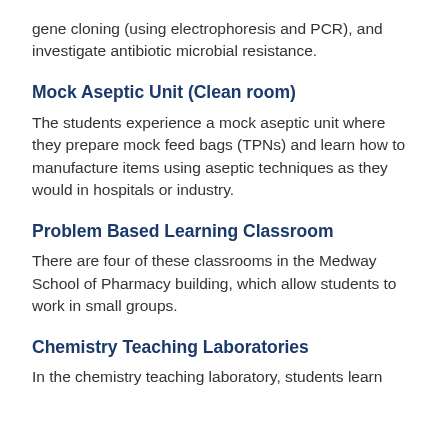gene cloning (using electrophoresis and PCR), and investigate antibiotic microbial resistance.
Mock Aseptic Unit (Clean room)
The students experience a mock aseptic unit where they prepare mock feed bags (TPNs) and learn how to manufacture items using aseptic techniques as they would in hospitals or industry.
Problem Based Learning Classroom
There are four of these classrooms in the Medway School of Pharmacy building, which allow students to work in small groups.
Chemistry Teaching Laboratories
In the chemistry teaching laboratory, students learn